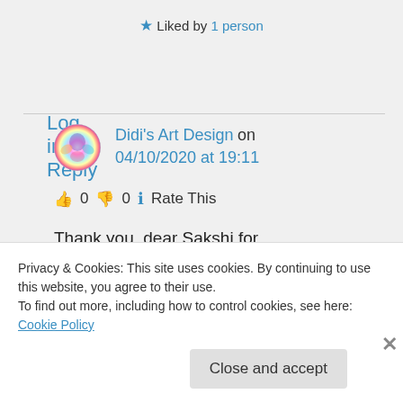★ Liked by 1 person
Log in to Reply
Didi's Art Design on 04/10/2020 at 19:11
👍 0 👎 0 ℹ Rate This
Thank you, dear Sakshi for your understanding 🙂
For you and your family
Privacy & Cookies: This site uses cookies. By continuing to use this website, you agree to their use.
To find out more, including how to control cookies, see here: Cookie Policy
Close and accept